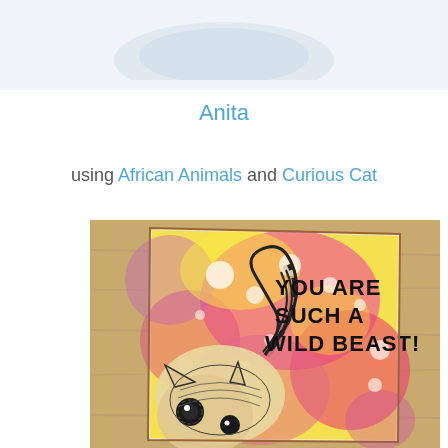[Figure (photo): Partial top image cropped at the top of the page, showing a light grey/blue shape on white background]
Anita
using African Animals and Curious Cat
[Figure (photo): Craft card with colorful watercolor background in pink, yellow, and purple with white splatter spots. A detailed black and white illustrated cat (zentangle style) is in the lower left. Bold black text reads 'YOU ARE SUCH A WILD BEAST!' on the upper right. Card is placed on a wooden surface.]